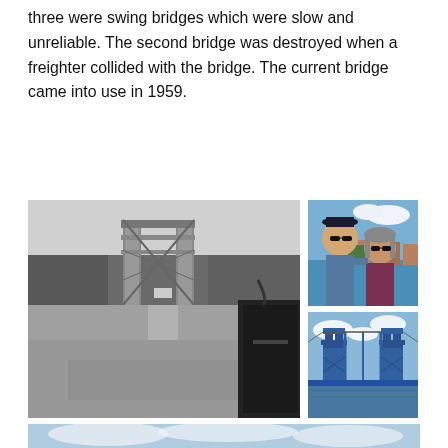three were swing bridges which were slow and unreliable. The second bridge was destroyed when a freighter collided with the bridge. The current bridge came into use in 1959.
[Figure (photo): Black and white photo of a tall steel lift bridge with a vehicle door visible in the foreground and road leading to the bridge]
[Figure (photo): Color photo of a man and woman taking a selfie with a river and lift bridge visible in the background on a sunny day]
[Figure (photo): Color photo of a blue steel lift bridge over water on a partly cloudy day]
[Figure (photo): Partial color photo of a sky with clouds, bottom of image is cut off]